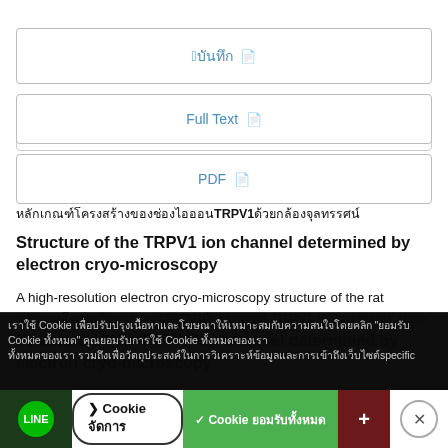[Figure (screenshot): Button box with Thai characters and document icon]
[Figure (screenshot): Button box with Full Text and document icon]
[Figure (screenshot): Button box with PDF and document icon]
การศึกษาโครงสร้างของช่องไอออน TRPV1 ด้วยกล้องจุลทรรศน์
Structure of the TRPV1 ion channel determined by electron cryo-microscopy
A high-resolution electron cryo-microscopy structure of the rat transient receptor potential (TRP) channel TRPV1 in its 'closed' state is presented; the overall structure of this ion
[Figure (screenshot): Cookie consent overlay banner with Thai text and accept/manage buttons]